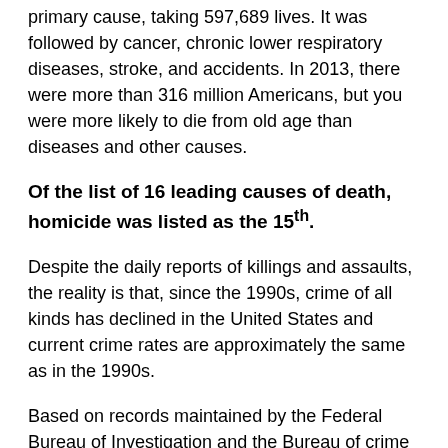primary cause, taking 597,689 lives. It was followed by cancer, chronic lower respiratory diseases, stroke, and accidents. In 2013, there were more than 316 million Americans, but you were more likely to die from old age than diseases and other causes.
Of the list of 16 leading causes of death, homicide was listed as the 15th.
Despite the daily reports of killings and assaults, the reality is that, since the 1990s, crime of all kinds has declined in the United States and current crime rates are approximately the same as in the 1990s.
Based on records maintained by the Federal Bureau of Investigation and the Bureau of crime statistics, defined as four criminal offenses, murder and non-negligent manslaughter, forcible rape, robbery and aggravated assault, the potential of being a victim has been reduced. The U.S. homicide rate, which has declined